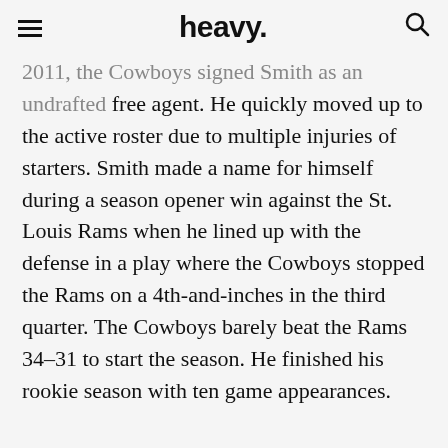heavy.
2011, the Cowboys signed Smith as an undrafted free agent. He quickly moved up to the active roster due to multiple injuries of starters. Smith made a name for himself during a season opener win against the St. Louis Rams when he lined up with the defense in a play where the Cowboys stopped the Rams on a 4th-and-inches in the third quarter. The Cowboys barely beat the Rams 34–31 to start the season. He finished his rookie season with ten game appearances.